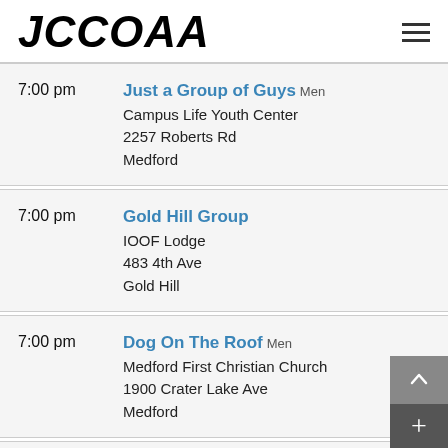JCCOAA
7:00 pm — Just a Group of Guys Men — Campus Life Youth Center, 2257 Roberts Rd, Medford
7:00 pm — Gold Hill Group — IOOF Lodge, 483 4th Ave, Gold Hill
7:00 pm — Dog On The Roof Men — Medford First Christian Church, 1900 Crater Lake Ave, Medford
7:00 pm — Open Book Study